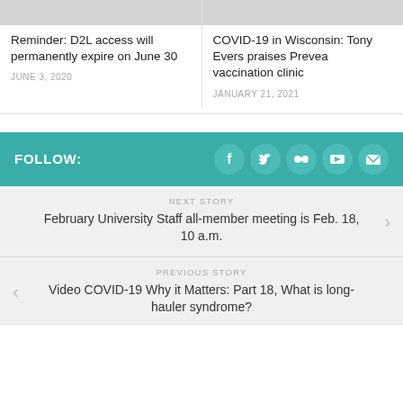[Figure (photo): Gray placeholder image for article card 1]
[Figure (photo): Gray placeholder image for article card 2]
Reminder: D2L access will permanently expire on June 30
JUNE 3, 2020
COVID-19 in Wisconsin: Tony Evers praises Prevea vaccination clinic
JANUARY 21, 2021
FOLLOW:
[Figure (infographic): Social media icons: Facebook, Twitter, Flickr, YouTube, Email]
NEXT STORY
February University Staff all-member meeting is Feb. 18, 10 a.m.
PREVIOUS STORY
Video COVID-19 Why it Matters: Part 18, What is long-hauler syndrome?